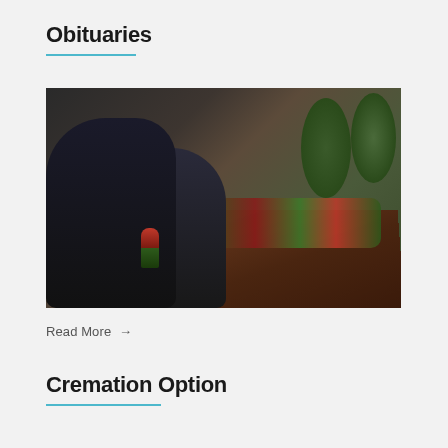Obituaries
[Figure (photo): A couple dressed in black mourning clothes standing beside a flower-adorned casket at a funeral, with trees visible in the background. The woman holds a red rose.]
Read More →
Cremation Option